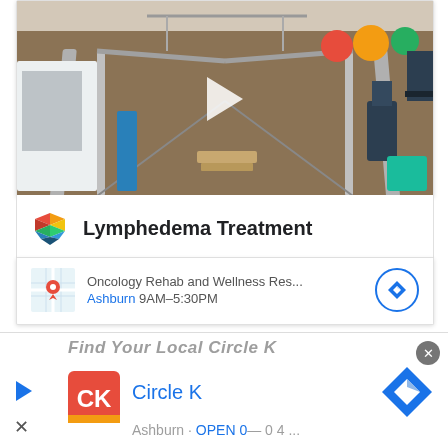[Figure (photo): Video thumbnail showing a physical therapy gym with parallel bars, exercise equipment, colorful balls, and blue mats. A white play button triangle is centered over the image.]
Lymphedema Treatment
Oncology Rehab and Wellness Res... Ashburn 9AM–5:30PM
[Figure (screenshot): Advertisement banner for Circle K. Shows 'Find Your Local Circle K' text (partially cut off), Circle K red logo, brand name in blue, navigation diamond icon, play and close buttons.]